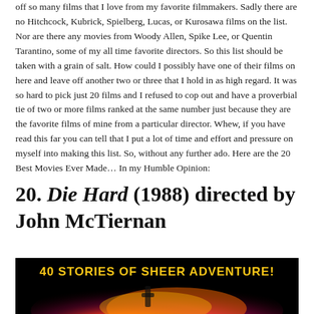off so many films that I love from my favorite filmmakers. Sadly there are no Hitchcock, Kubrick, Spielberg, Lucas, or Kurosawa films on the list. Nor are there any movies from Woody Allen, Spike Lee, or Quentin Tarantino, some of my all time favorite directors. So this list should be taken with a grain of salt. How could I possibly have one of their films on here and leave off another two or three that I hold in as high regard. It was so hard to pick just 20 films and I refused to cop out and have a proverbial tie of two or more films ranked at the same number just because they are the favorite films of mine from a particular director. Whew, if you have read this far you can tell that I put a lot of time and effort and pressure on myself into making this list. So, without any further ado. Here are the 20 Best Movies Ever Made... In my Humble Opinion:
20. Die Hard (1988) directed by John McTiernan
[Figure (photo): Movie banner for Die Hard showing the text '40 STORIES OF SHEER ADVENTURE!' in bold yellow letters over a dark background with fire/explosion imagery and a silhouette of a person]